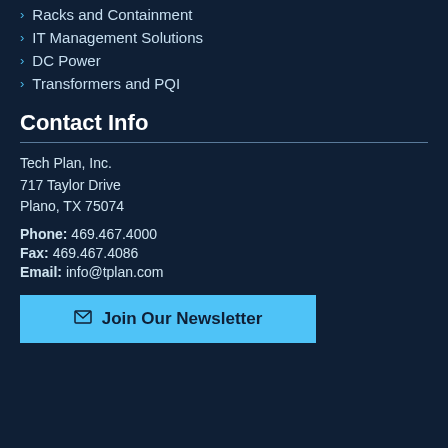Racks and Containment
IT Management Solutions
DC Power
Transformers and PQI
Contact Info
Tech Plan, Inc.
717 Taylor Drive
Plano, TX 75074
Phone: 469.467.4000
Fax: 469.467.4086
Email: info@tplan.com
Join Our Newsletter